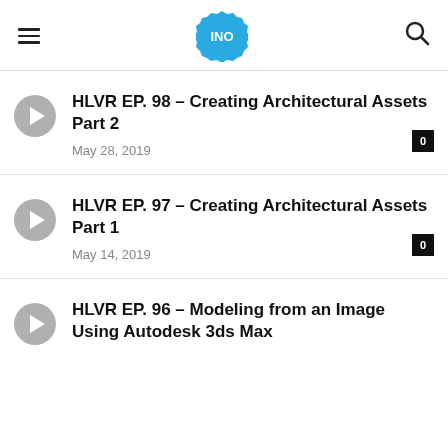INO
HLVR EP. 98 – Creating Architectural Assets Part 2
May 28, 2019
HLVR EP. 97 – Creating Architectural Assets Part 1
May 14, 2019
HLVR EP. 96 – Modeling from an Image Using Autodesk 3ds Max